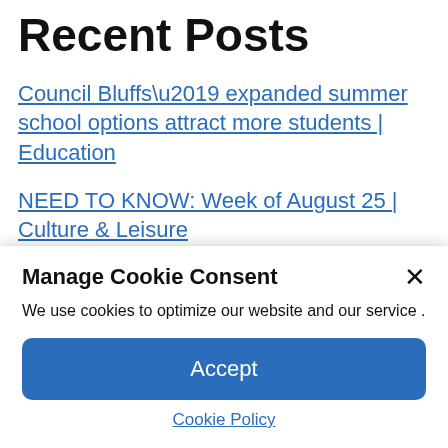Recent Posts
Council Bluffs’ expanded summer school options attract more students | Education
NEED TO KNOW: Week of August 25 | Culture & Leisure
New District 6 Fire Station gears up for action – Methow Valley News
From hip hop to tap, find dance lessons for
Manage Cookie Consent
We use cookies to optimize our website and our service .
Accept
Cookie Policy